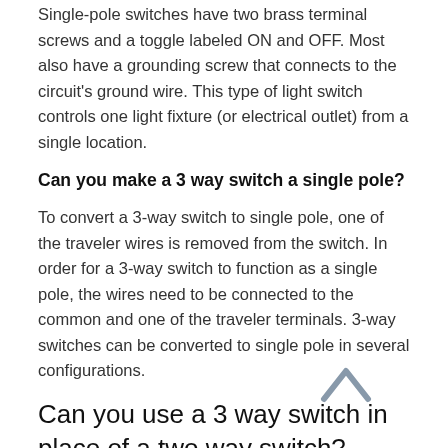Single-pole switches have two brass terminal screws and a toggle labeled ON and OFF. Most also have a grounding screw that connects to the circuit's ground wire. This type of light switch controls one light fixture (or electrical outlet) from a single location.
Can you make a 3 way switch a single pole?
To convert a 3-way switch to single pole, one of the traveler wires is removed from the switch. In order for a 3-way switch to function as a single pole, the wires need to be connected to the common and one of the traveler terminals. 3-way switches can be converted to single pole in several configurations.
Can you use a 3 way switch in place of a two way switch?
Yes it can work. 3 way switches are and (single pole